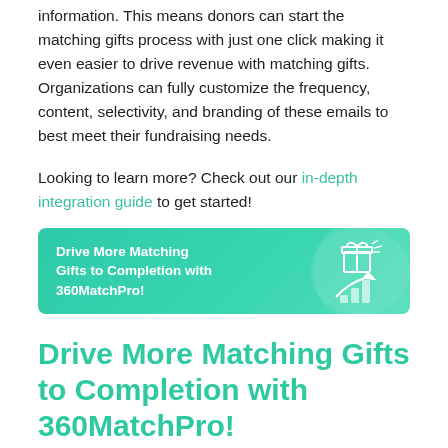information. This means donors can start the matching gifts process with just one click making it even easier to drive revenue with matching gifts. Organizations can fully customize the frequency, content, selectivity, and branding of these emails to best meet their fundraising needs.
Looking to learn more? Check out our in-depth integration guide to get started!
[Figure (infographic): Teal/green banner with white bold text reading 'Drive More Matching Gifts to Completion with 360MatchPro!' and a decorative icon of a gift box with rising bar chart on the right side.]
Drive More Matching Gifts to Completion with 360MatchPro!